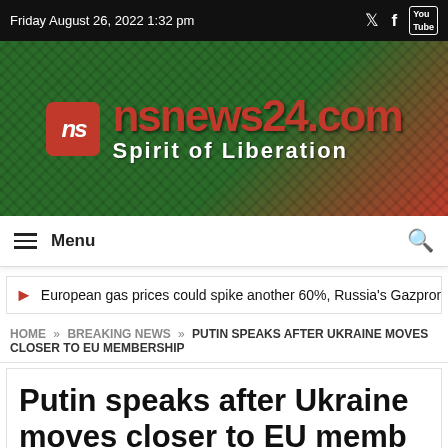Friday August 26, 2022 1:32 pm
[Figure (logo): nsnews24.com logo with red cube and tagline 'Spirit of Liberation' on green textured background]
Menu
European gas prices could spike another 60%, Russia's Gazprom w
HOME » BREAKING NEWS » PUTIN SPEAKS AFTER UKRAINE MOVES CLOSER TO EU MEMBERSHIP
Putin speaks after Ukraine moves closer to EU membership